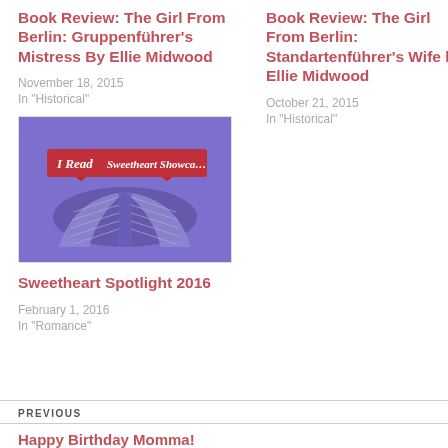Book Review: The Girl From Berlin: Gruppenführer's Mistress By Ellie Midwood
November 18, 2015
In "Historical"
Book Review: The Girl From Berlin: Standartenführer's Wife by Ellie Midwood
October 21, 2015
In "Historical"
[Figure (photo): Sweetheart Showcase image showing a book with pages fanned into a heart shape, with red hearts and text 'I Read Sweetheart Showcase' on a purple background]
Sweetheart Spotlight 2016
February 1, 2016
In "Romance"
PREVIOUS
Happy Birthday Momma!